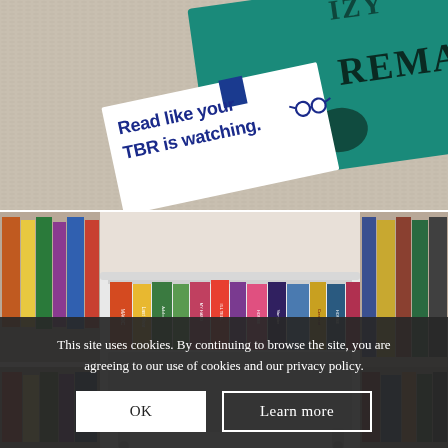[Figure (photo): Close-up photo of a bookmark or card on a knit fabric background next to a teal book with the word 'REMAINS' visible. The card reads 'Read like your TBR is watching. 60' in bold dark blue text.]
[Figure (photo): Photo of colorful books spine-out on a white bookshelf/cart, with more books visible on shelves behind it.]
This site uses cookies. By continuing to browse the site, you are agreeing to our use of cookies and our privacy policy.
OK
Learn more